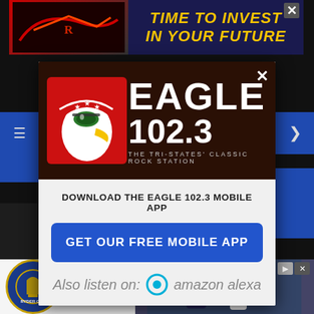[Figure (screenshot): Eagle 102.3 radio station mobile app popup modal over a website background. Dark brown header with Eagle mascot logo (bald eagle wearing patriotic bandana and sunglasses on red square background) and text EAGLE 102.3 THE TRI-STATES' CLASSIC ROCK STATION. White/gray body with text DOWNLOAD THE EAGLE 102.3 MOBILE APP, blue button GET OUR FREE MOBILE APP, and Also listen on: amazon alexa with Alexa icon. Top background has a TIME TO INVEST IN YOUR FUTURE advertisement. Bottom has a GET TICKET UPDATES Ryder Cup advertisement.]